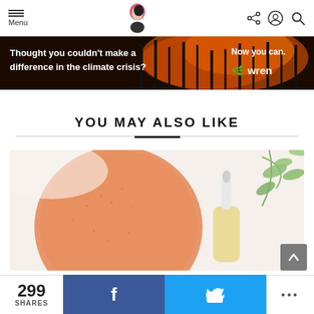Menu | [logo] | [share icon] [user icon] [search icon]
[Figure (photo): Advertisement banner: forest fire background with white text 'Thought you couldn't make a difference in the climate crisis? Now you can. wren']
YOU MAY ALSO LIKE
[Figure (photo): Close-up photo of skincare products: an orange konjac sponge and a dropper bottle with yellow serum, with green plant leaves in the background on a white surface]
299 SHARES | Facebook share | Twitter share | ...